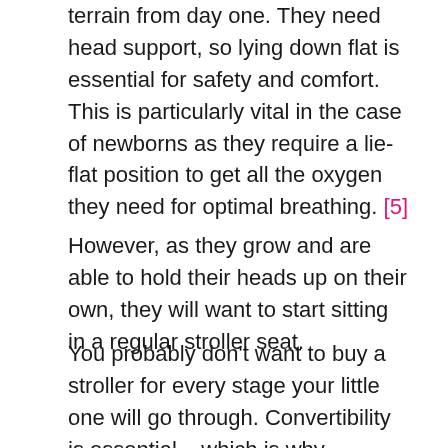terrain from day one. They need head support, so lying down flat is essential for safety and comfort. This is particularly vital in the case of newborns as they require a lie-flat position to get all the oxygen they need for optimal breathing. [5]
However, as they grow and are able to hold their heads up on their own, they will want to start sitting in a regular stroller seat.
You probably don't want to buy a stroller for every stage your little one will go through. Convertibility is essential – which is why convertible strollers provide great value for money. Models with attachable car seats can